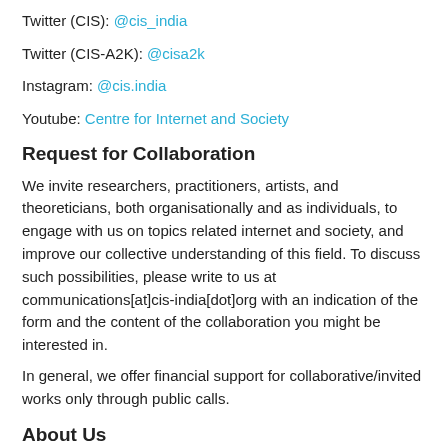Twitter (CIS): @cis_india
Twitter (CIS-A2K): @cisa2k
Instagram: @cis.india
Youtube: Centre for Internet and Society
Request for Collaboration
We invite researchers, practitioners, artists, and theoreticians, both organisationally and as individuals, to engage with us on topics related internet and society, and improve our collective understanding of this field. To discuss such possibilities, please write to us at communications[at]cis-india[dot]org with an indication of the form and the content of the collaboration you might be interested in.
In general, we offer financial support for collaborative/invited works only through public calls.
About Us
The Centre for Internet and Society (CIS) is a non-profit organisation that undertakes interdisciplinary research on internet and digital technologies from policy and academic perspectives. The areas of focus include digital accessibility for persons with disabilities,